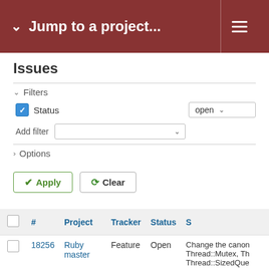Jump to a project...
Issues
Filters
Status  open
Add filter
Options
Apply  Clear
|  | # | Project | Tracker | Status | S |
| --- | --- | --- | --- | --- | --- |
|  | 18256 | Ruby master | Feature | Open | Change the canon Thread::Mutex, Th Thread::SizedQue Thread::Condition Queue, SizedQue ConditionVariable |
|  | 17146 | Ruby master | Bug | Open | Queue operations frozen |